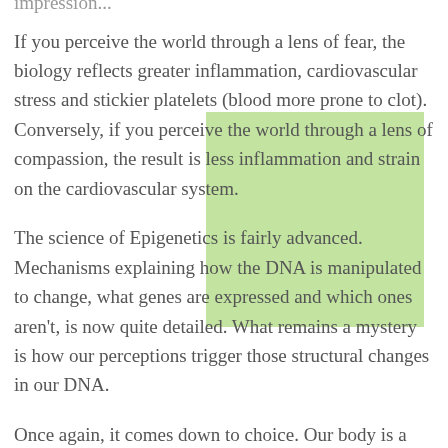impression...
If you perceive the world through a lens of fear, the biology reflects greater inflammation, cardiovascular stress and stickier platelets (blood more prone to clot). Conversely, if you perceive the world through a lens of compassion, the result is less inflammation and strain on the cardiovascular system.
The science of Epigenetics is fairly advanced. Mechanisms explaining how the DNA is manipulated to change, what genes are expressed and which ones aren't, is now quite detailed. What remains a mystery is how our perceptions trigger those structural changes in our DNA.
Once again, it comes down to choice. Our body is a process and not a thing.  It should be